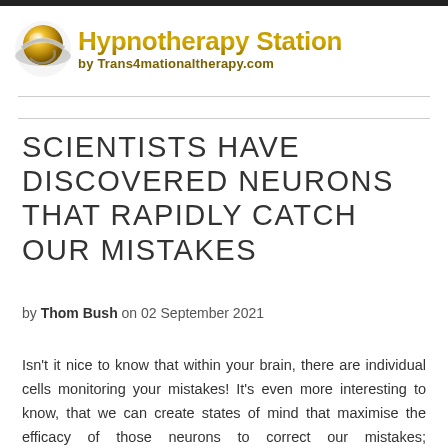[Figure (logo): Hypnotherapy Station logo with a gold and silver globe graphic on the left and bold gold text 'Hypnotherapy Station' with subtitle 'by Trans4mationaltherapy.com']
SCIENTISTS HAVE DISCOVERED NEURONS THAT RAPIDLY CATCH OUR MISTAKES
by Thom Bush on 02 September 2021
Isn't it nice to know that within your brain, there are individual cells monitoring your mistakes! It's even more interesting to know, that we can create states of mind that maximise the efficacy of those neurons to correct our mistakes; hypnotherapy can play a